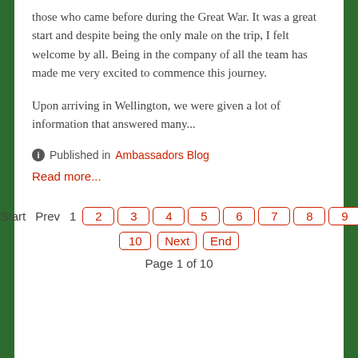those who came before during the Great War. It was a great start and despite being the only male on the trip, I felt welcome by all. Being in the company of all the team has made me very excited to commence this journey.
Upon arriving in Wellington, we were given a lot of information that answered many...
ℹ Published in  Ambassadors Blog
Read more...
Start  Prev  1  2  3  4  5  6  7  8  9  10  Next  End
Page 1 of 10